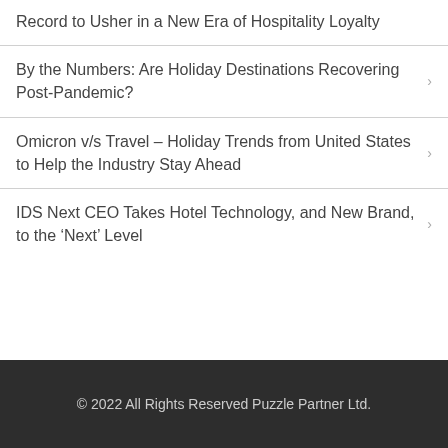Record to Usher in a New Era of Hospitality Loyalty
By the Numbers: Are Holiday Destinations Recovering Post-Pandemic?
Omicron v/s Travel – Holiday Trends from United States to Help the Industry Stay Ahead
IDS Next CEO Takes Hotel Technology, and New Brand, to the ‘Next’ Level
© 2022 All Rights Reserved Puzzle Partner Ltd.